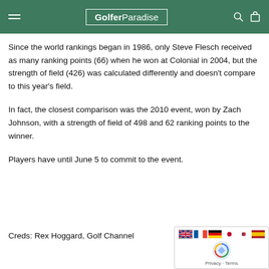GolferParadise
Since the world rankings began in 1986, only Steve Flesch received as many ranking points (66) when he won at Colonial in 2004, but the strength of field (426) was calculated differently and doesn’t compare to this year’s field.
In fact, the closest comparison was the 2010 event, won by Zach Johnson, with a strength of field of 498 and 62 ranking points to the winner.
Players have until June 5 to commit to the event.
Creds: Rex Hoggard, Golf Channel